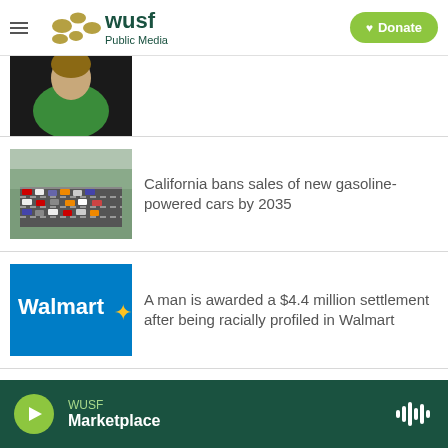WUSF Public Media | Donate
[Figure (photo): Partial photo of a person in green clothing on dark background, cropped at top]
[Figure (photo): Aerial photo of a congested freeway with many cars and city in background]
California bans sales of new gasoline-powered cars by 2035
[Figure (photo): Photo of a Walmart store sign (blue background with Walmart logo and yellow star)]
A man is awarded a $4.4 million settlement after being racially profiled in Walmart
WUSF Marketplace